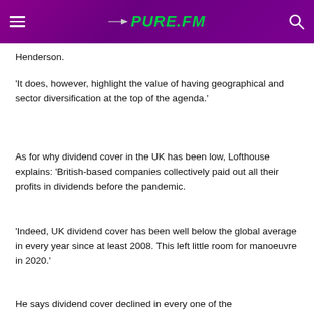PURE.FM
Henderson.
'It does, however, highlight the value of having geographical and sector diversification at the top of the agenda.'
As for why dividend cover in the UK has been low, Lofthouse explains: 'British-based companies collectively paid out all their profits in dividends before the pandemic.
'Indeed, UK dividend cover has been well below the global average in every year since at least 2008. This left little room for manoeuvre in 2020.'
He says dividend cover declined in every one of the